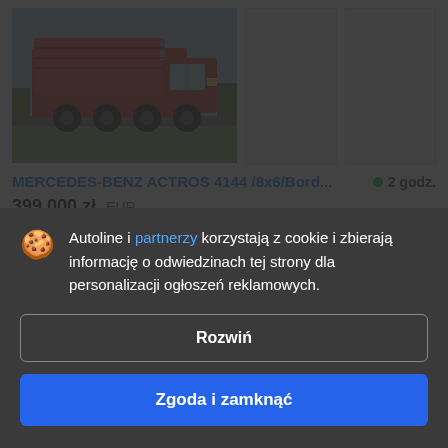[Figure (photo): Red Mercedes-Benz Actros dump truck on a road, outdoor setting]
MERCEDES-BENZ ACTROS 4144 /8x6/Bord...  ● 2 godz.
399 000 zł  EUR
Wywrotka, Euro: Euro 5  Zawieszenie: resorowe/resorowe
Marka nadwozia: Meiller
Rok: 2013, Przebieg: 254000 km
Polska
Autoline i partnerzy korzystają z cookie i zbierają informację o odwiedzinach tej strony dla personalizacji ogłoszeń reklamowych.
Rozwiń
Zgoda i zamknąć